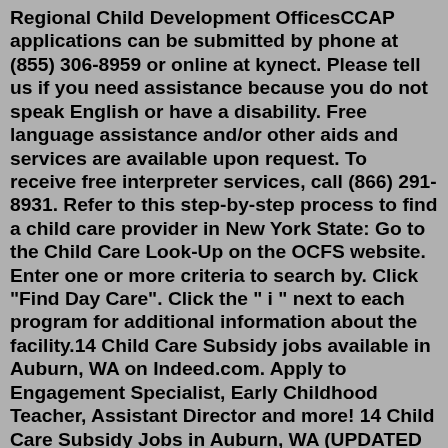Regional Child Development OfficesCCAP applications can be submitted by phone at (855) 306-8959 or online at kynect. Please tell us if you need assistance because you do not speak English or have a disability. Free language assistance and/or other aids and services are available upon request. To receive free interpreter services, call (866) 291- 8931. Refer to this step-by-step process to find a child care provider in New York State: Go to the Child Care Look-Up on the OCFS website. Enter one or more criteria to search by. Click "Find Day Care". Click the " i " next to each program for additional information about the facility.14 Child Care Subsidy jobs available in Auburn, WA on Indeed.com. Apply to Engagement Specialist, Early Childhood Teacher, Assistant Director and more! 14 Child Care Subsidy Jobs in Auburn, WA (UPDATED April 4, 2022) | Indeed.comApple Health Core Connections: Care coordination for all Washington State foster care and adoption support enrollees is provided through a single statewide managed care plan called Apple...